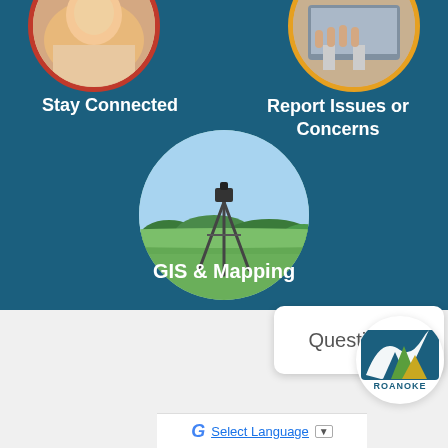[Figure (photo): Circular photo of person on couch, with red border, top-left — Stay Connected icon]
Stay Connected
[Figure (photo): Circular photo of hands on laptop keyboard, with orange border, top-right — Report Issues or Concerns icon]
Report Issues or Concerns
[Figure (photo): Circular photo of surveying tripod in green field with blue sky — GIS & Mapping icon]
GIS & Mapping
[Figure (screenshot): Questions? chat bubble and Roanoke city logo badge overlay]
[Figure (logo): Roanoke county/city logo with bird and mountains, blue background]
Select Language